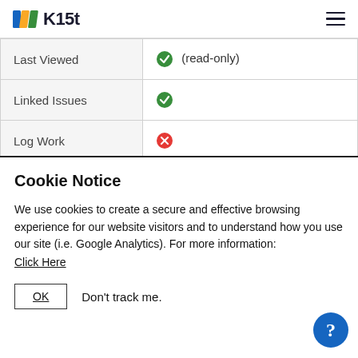K15t
| Last Viewed | (read-only) |
| Linked Issues | ✔ |
| Log Work | ✘ |
Cookie Notice
We use cookies to create a secure and effective browsing experience for our website visitors and to understand how you use our site (i.e. Google Analytics). For more information:
Click Here
OK    Don't track me.